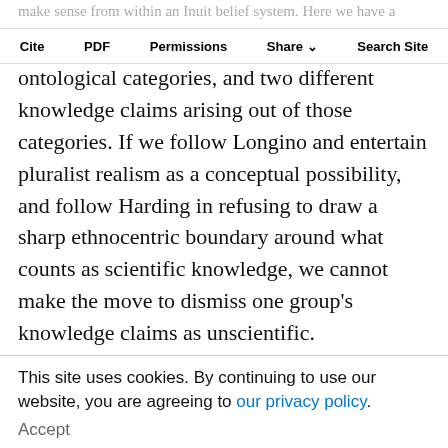make sense from within an Inuit belief system. Here we have a pluralistic environment. There are two sets of
Cite  PDF  Permissions  Share  Search Site
ontological categories, and two different knowledge claims arising out of those categories. If we follow Longino and entertain pluralist realism as a conceptual possibility, and follow Harding in refusing to draw a sharp ethnocentric boundary around what counts as scientific knowledge, we cannot make the move to dismiss one group's knowledge claims as unscientific. Furthermore, if we heed Longino, Kellert, and Waters' warnings, and avoid metaphysical prejudice, then we perhaps should not dismiss either claim. It remains to be
seen whether either set of knowledge claims will be found to be inaccurate, but at present both sets successfully explain the observed phenomena to their respective communities. But then, if we accept pluralist
This site uses cookies. By continuing to use our website, you are agreeing to our privacy policy.
Accept